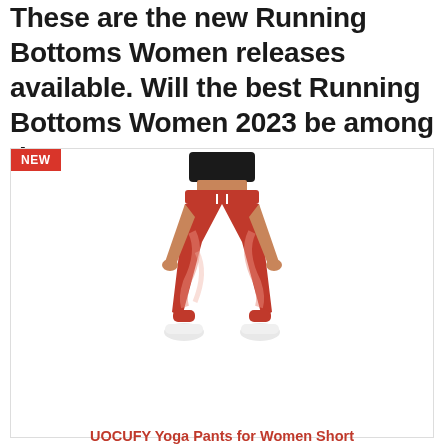These are the new Running Bottoms Women releases available. Will the best Running Bottoms Women 2023 be among them?
[Figure (photo): Product card with NEW badge showing a woman wearing red tie-dye jogger pants with white drawstring and white sneakers, cropped black top. Product image in a white-bordered card.]
UOCUFY Yoga Pants for Women Short